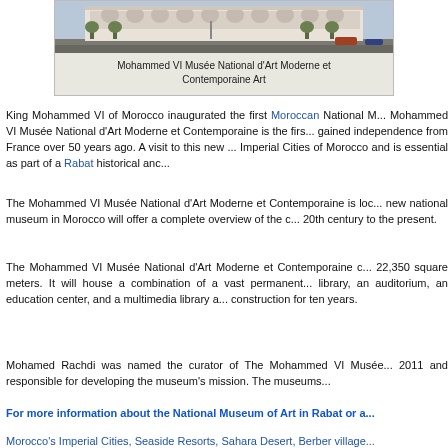[Figure (photo): Photograph of Mohammed VI Musée National d'Art Moderne et Contemporaine building exterior showing a grand white classical building with arches and columns, with a wide street/plaza in front]
Mohammed VI Musée National d'Art Moderne et Contemporaine Art
King Mohammed VI of Morocco inaugurated the first Moroccan National M... Mohammed VI Musée National d'Art Moderne et Contemporaine is the firs... gained independence from France over 50 years ago. A visit to this new ... Imperial Cities of Morocco and is essential as part of a Rabat historical anc...
The Mohammed VI Musée National d'Art Moderne et Contemporaine is loc... new national museum in Morocco will offer a complete overview of the c... 20th century to the present.
The Mohammed VI Musée National d'Art Moderne et Contemporaine c... 22,350 square meters. It will house a combination of a vast permanent... library, an auditorium, an education center, and a multimedia library a... construction for ten years.
Mohamed Rachdi was named the curator of The Mohammed VI Musée... 2011 and responsible for developing the museum's mission. The museums...
For more information about the National Museum of Art in Rabat or a...
Morocco's Imperial Cities, Seaside Resorts, Sahara Desert, Berber village...